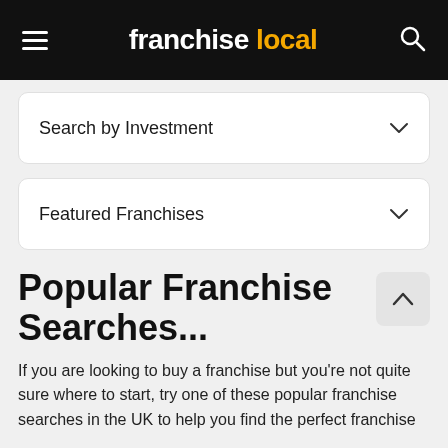franchise local
Search by Investment
Featured Franchises
Popular Franchise Searches...
If you are looking to buy a franchise but you're not quite sure where to start, try one of these popular franchise searches in the UK to help you find the perfect franchise